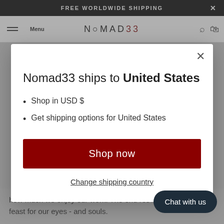FREE WORLDWIDE SHIPPING
[Figure (screenshot): Nomad33 website navigation bar with logo]
Nomad33 ships to United States
Shop in USD $
Get shipping options for United States
Shop now
Change shipping country
how much we enjoy our work. The end res... istic feast for our eyes - and souls.
Chat with us